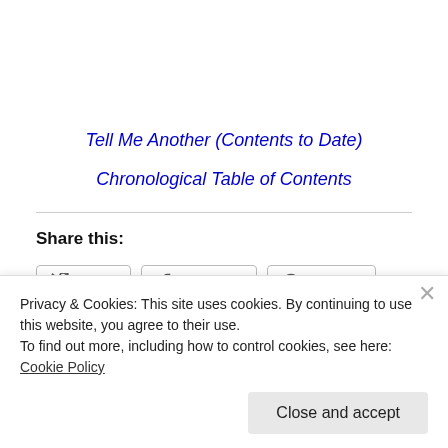Tell Me Another (Contents to Date)
Chronological Table of Contents
Share this:
Twitter  Facebook  Pinterest
Like
Privacy & Cookies: This site uses cookies. By continuing to use this website, you agree to their use.
To find out more, including how to control cookies, see here: Cookie Policy
Close and accept